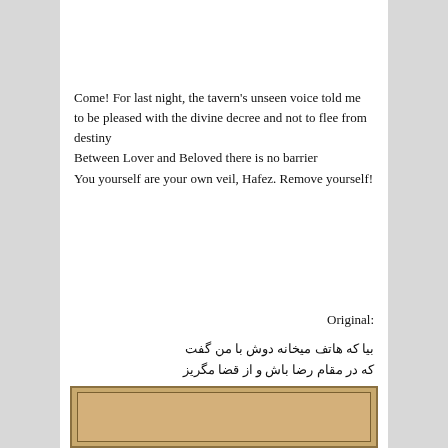Come! For last night, the tavern's unseen voice told me to be pleased with the divine decree and not to flee from destiny
Between Lover and Beloved there is no barrier
You yourself are your own veil, Hafez. Remove yourself!
Original:
بیا که هاتف میخانه دوش با من گفت
که در مقام رضا باش و از قضا مگریز
میان عاشق و معشوق هیج حائل نیست
تو خود حجاب خودی حافظ از میان برخیز
[Figure (photo): Bottom portion of an illuminated Persian manuscript page with decorative border, showing aged parchment with gold/brown tones]